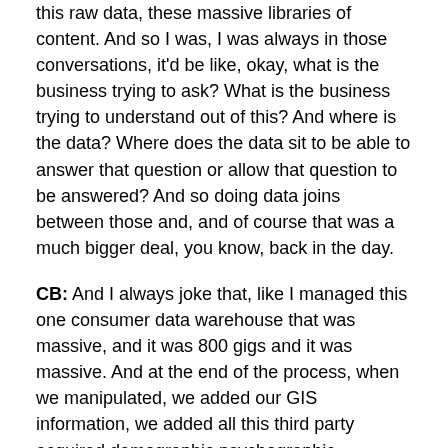this raw data, these massive libraries of content. And so I was, I was always in those conversations, it'd be like, okay, what is the business trying to ask? What is the business trying to understand out of this? And where is the data? Where does the data sit to be able to answer that question or allow that question to be answered? And so doing data joins between those and, and of course that was a much bigger deal, you know, back in the day.
CB: And I always joke that, like I managed this one consumer data warehouse that was massive, and it was 800 gigs and it was massive. And at the end of the process, when we manipulated, we added our GIS information, we added all this third party acquired demographic psychographic information about customer data with all of the location-based data added together. And we were 1.2 terabytes. And we were just like, wow, this is just massive. And now I was showed about it. Like, I have an eight terabyte external drive that's just music.